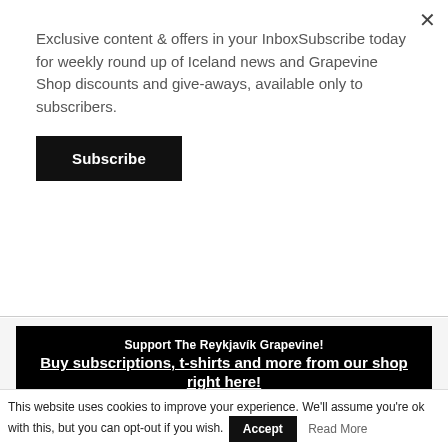Exclusive content & offers in your InboxSubscribe today for weekly round up of Iceland news and Grapevine Shop discounts and give-aways, available only to subscribers.
Subscribe
[Figure (infographic): Black banner ad: 'Support The Reykjavík Grapevine! Buy subscriptions, t-shirts and more from our shop right here!']
Search for
Travel Deals for Seniors
Senior Iceland Travel Discounts
This website uses cookies to improve your experience. We'll assume you're ok with this, but you can opt-out if you wish.
Accept
Read More